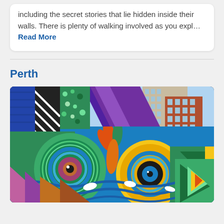including the secret stories that lie hidden inside their walls. There is plenty of walking involved as you expl… Read More
Perth
[Figure (photo): Colorful street mural with abstract owl-like face with large circular eyes, geometric patterns, and bright colors including blue, green, purple, orange, and yellow. City buildings visible in the background.]